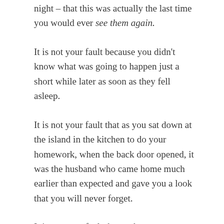night – that this was actually the last time you would ever see them again.
It is not your fault because you didn't know what was going to happen just a short while later as soon as they fell asleep.
It is not your fault that as you sat down at the island in the kitchen to do your homework, when the back door opened, it was the husband who came home much earlier than expected and gave you a look that you will never forget.
It is not your fault that at that exact moment, a knot formed in your stomach – that sick feeling that is hard to describe, and you knew something bad was about to happen and you were unable to run out of there. After